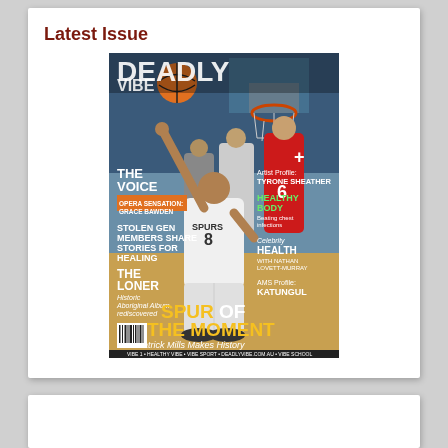Latest Issue
[Figure (photo): Magazine cover of 'DEADLY VIBE' featuring basketball player Patrick Mills of the San Antonio Spurs (#8) reaching up for a layup during an NBA game. Headlines on the cover include: 'SPUR OF THE MOMENT - Patrick Mills Makes History', 'THE VOICE - Opera Sensation Grace Bawden', 'STOLEN GEN MEMBERS SHARE STORIES FOR HEALING', 'THE LONER - Historic Aboriginal Album Rediscovered', 'Artist Profile: TYRONE SHEATHER', 'HEALTHY BODY - Beating Chest Infections', 'Celebrity HEALTH with Nathan Lovett-Murray', 'AMS Profile: KATUNGUL'. A barcode is visible at the bottom left. The magazine strip reads: VIBE 1 • HEALTHY VIBE • VIBE SPORT • DEADLYVIBE.COM.AU • VIBE SCHOOL]